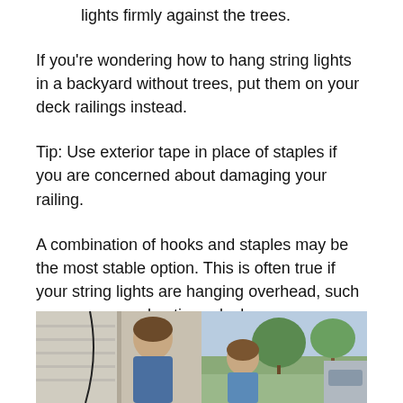lights firmly against the trees.
If you're wondering how to hang string lights in a backyard without trees, put them on your deck railings instead.
Tip: Use exterior tape in place of staples if you are concerned about damaging your railing.
A combination of hooks and staples may be the most stable option. This is often true if your string lights are hanging overhead, such as on a covered patio or deck.
How To Wire The Lamp Post
[Figure (photo): Photo of a man working outdoors near a building, with trees visible in the background. The image is split showing two scenes side by side.]